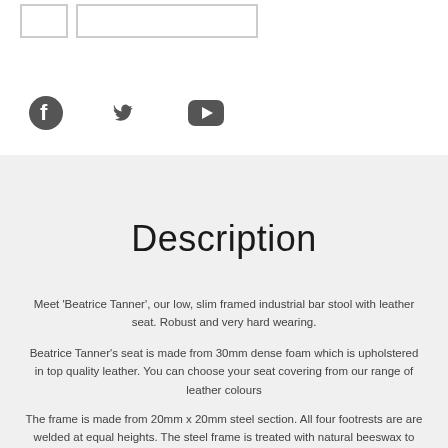[Figure (other): Two placeholder image boxes (small and large) with grey borders]
[Figure (other): Social media icons: Facebook, Twitter, YouTube in dark grey]
Description
Meet 'Beatrice Tanner', our low, slim framed industrial bar stool with leather seat. Robust and very hard wearing.
Beatrice Tanner's seat is made from 30mm dense foam which is upholstered in top quality leather. You can choose your seat covering from our range of leather colours
The frame is made from 20mm x 20mm steel section. All four footrests are are welded at equal heights. The steel frame is treated with natural beeswax to prevent rusting. Black plastic feet at the